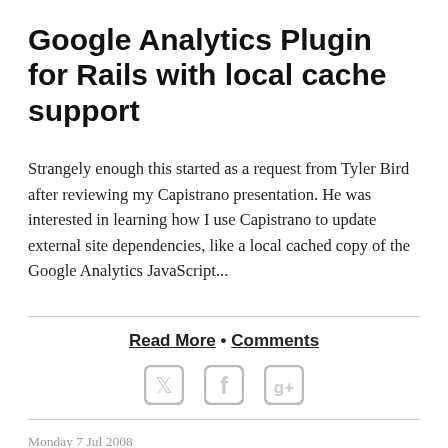Google Analytics Plugin for Rails with local cache support
Strangely enough this started as a request from Tyler Bird after reviewing my Capistrano presentation. He was interested in learning how I use Capistrano to update external site dependencies, like a local cached copy of the Google Analytics JavaScript...
Read More • Comments
[Figure (other): Social share icons: Twitter, Facebook, Google+]
Monday 7 Jul 2008